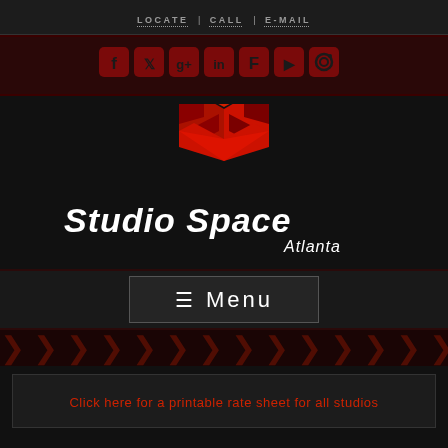LOCATE | CALL | E-MAIL
[Figure (infographic): Social media icons row: Facebook, Twitter, Google+, LinkedIn, Foursquare, YouTube, Instagram — dark red rounded square icons]
[Figure (logo): Studio Space Atlanta logo — red 3D geometric cube/staircase icon with white italic text 'Studio Space' and smaller 'Atlanta' below]
≡ Menu
Click here for a printable rate sheet for all studios